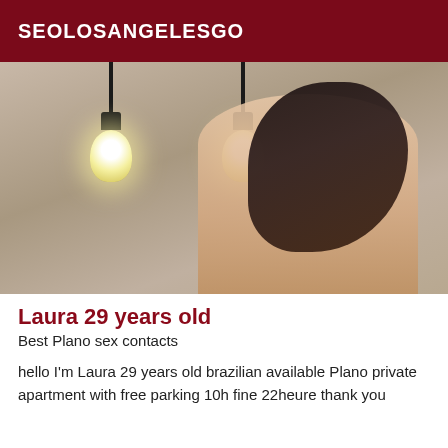SEOLOSANGELESGO
[Figure (photo): A young woman with long dark hair in a room with two hanging light bulbs, face blurred, photographed from the waist up]
Laura 29 years old
Best Plano sex contacts
hello I'm Laura 29 years old brazilian available Plano private apartment with free parking 10h fine 22heure thank you